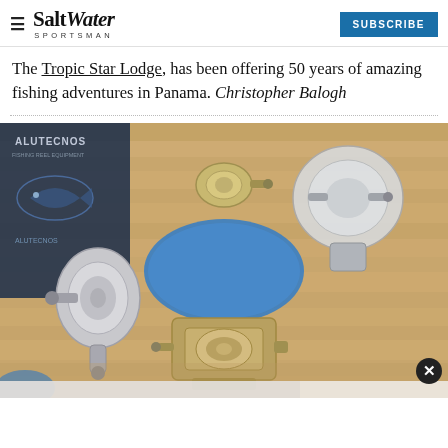Salt Water Sportsman | SUBSCRIBE
The Tropic Star Lodge, has been offering 50 years of amazing fishing adventures in Panama. Christopher Balogh
[Figure (photo): Multiple Alutecnos fishing reels displayed on a wooden table surface with a blue oval base plate. Several silver/chrome big game fishing reels of various sizes arranged around the display. An Alutecnos branded banner is visible in the background. A close button (X) appears in the lower right corner.]